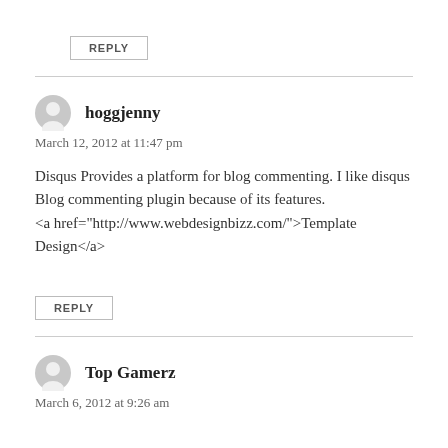REPLY
hoggjenny
March 12, 2012 at 11:47 pm
Disqus Provides a platform for blog commenting. I like disqus Blog commenting plugin because of its features.
<a href="http://www.webdesignbizz.com/">Template Design</a>
REPLY
Top Gamerz
March 6, 2012 at 9:26 am